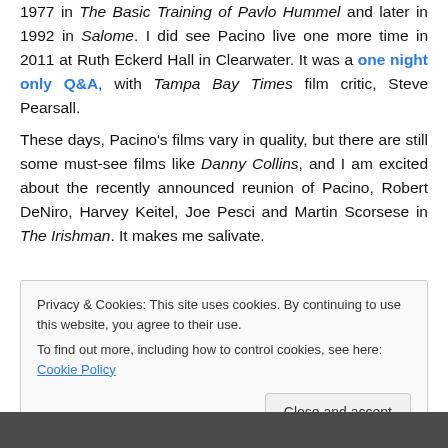1977 in The Basic Training of Pavlo Hummel and later in 1992 in Salome. I did see Pacino live one more time in 2011 at Ruth Eckerd Hall in Clearwater. It was a one night only Q&A, with Tampa Bay Times film critic, Steve Pearsall.
These days, Pacino's films vary in quality, but there are still some must-see films like Danny Collins, and I am excited about the recently announced reunion of Pacino, Robert DeNiro, Harvey Keitel, Joe Pesci and Martin Scorsese in The Irishman. It makes me salivate.
Privacy & Cookies: This site uses cookies. By continuing to use this website, you agree to their use. To find out more, including how to control cookies, see here: Cookie Policy. Close and accept.
[Figure (photo): Black and white photo strip at the bottom of the page]